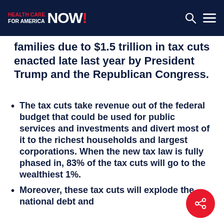HEALTH CARE FOR AMERICA NOW!
families due to $1.5 trillion in tax cuts enacted late last year by President Trump and the Republican Congress.
The tax cuts take revenue out of the federal budget that could be used for public services and investments and divert most of it to the richest households and largest corporations. When the new tax law is fully phased in, 83% of the tax cuts will go to the wealthiest 1%.
Moreover, these tax cuts will explode the national debt and the subsequent cuts of medicare...